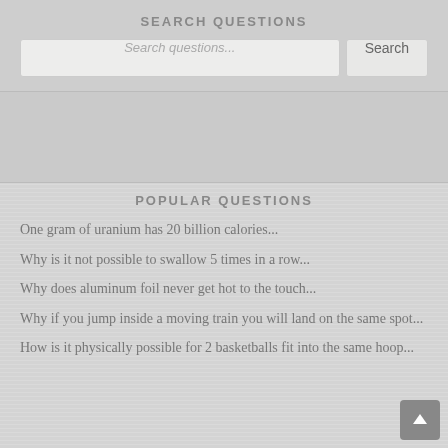SEARCH QUESTIONS
Search questions...
POPULAR QUESTIONS
One gram of uranium has 20 billion calories...
Why is it not possible to swallow 5 times in a row...
Why does aluminum foil never get hot to the touch...
Why if you jump inside a moving train you will land on the same spot...
How is it physically possible for 2 basketballs fit into the same hoop...